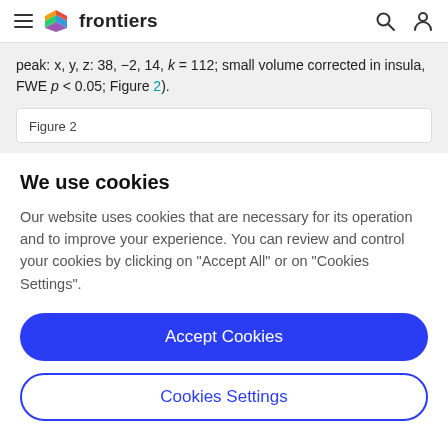frontiers
peak: x, y, z: 38, −2, 14, k = 112; small volume corrected in insula, FWE p < 0.05; Figure 2).
Figure 2
We use cookies
Our website uses cookies that are necessary for its operation and to improve your experience. You can review and control your cookies by clicking on "Accept All" or on "Cookies Settings".
Accept Cookies
Cookies Settings